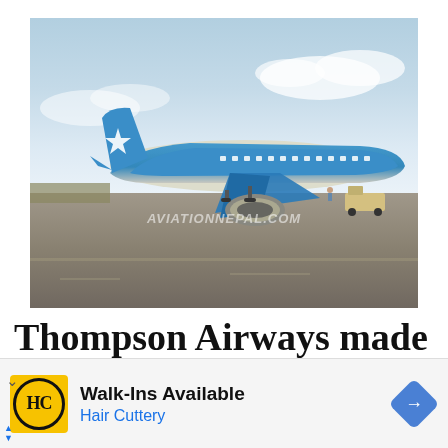[Figure (photo): A blue Thompson Airways (Thomsonfly) Boeing 757 aircraft on airport tarmac with a sky background. Watermark reads AVIATIONNEPAL.COM]
Thompson Airways made emergency landing due to
[Figure (infographic): Advertisement banner for Hair Cuttery salon. Yellow square icon with HC logo in black circle, text 'Walk-Ins Available' in bold black, 'Hair Cuttery' in blue, and a blue diamond navigation arrow icon on the right.]